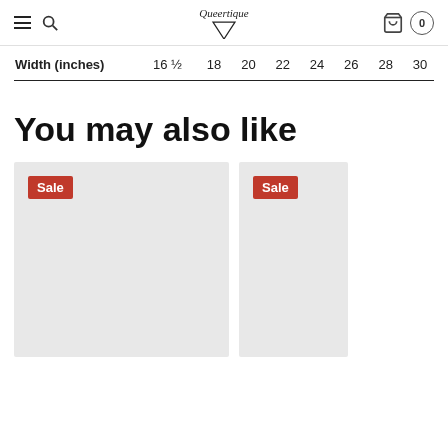Queertique — navigation header with hamburger menu, search, logo, cart
| Width (inches) | 16 ½ | 18 | 20 | 22 | 24 | 26 | 28 | 30 |
| --- | --- | --- | --- | --- | --- | --- | --- | --- |
You may also like
[Figure (other): Product card placeholder with red Sale badge]
[Figure (other): Partially visible product card placeholder with red Sale badge]